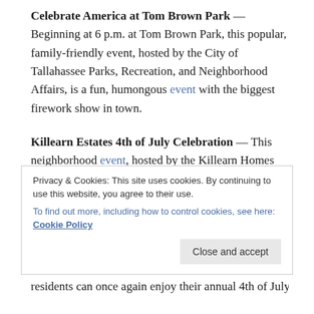Celebrate America at Tom Brown Park — Beginning at 6 p.m. at Tom Brown Park, this popular, family-friendly event, hosted by the City of Tallahassee Parks, Recreation, and Neighborhood Affairs, is a fun, humongous event with the biggest firework show in town.
Killearn Estates 4th of July Celebration — This neighborhood event, hosted by the Killearn Homes Association and open to all Killearn Estates families, begins at 5:30 p.m. and concludes after the show at dusk.
Southwood Celebration of the Red White & Blue — Southwood residents can once again enjoy their annual 4th of July
Privacy & Cookies: This site uses cookies. By continuing to use this website, you agree to their use. To find out more, including how to control cookies, see here: Cookie Policy
Celebrate Freedom 2019 at Northwoods Baptist Church — Join